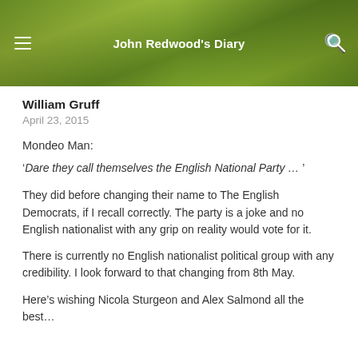John Redwood's Diary
William Gruff
April 23, 2015
Mondeo Man:
‘Dare they call themselves the English National Party … ’
They did before changing their name to The English Democrats, if I recall correctly. The party is a joke and no English nationalist with any grip on reality would vote for it.
There is currently no English nationalist political group with any credibility. I look forward to that changing from 8th May.
Here’s wishing Nicola Sturgeon and Alex Salmond all the best…